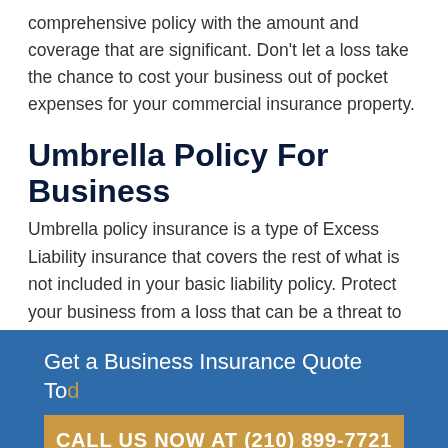Discuss with your agent your business needs to find a comprehensive policy with the amount and coverage that are significant. Don't let a loss take the chance to cost your business out of pocket expenses for your commercial insurance property.
Umbrella Policy For Business
Umbrella policy insurance is a type of Excess Liability insurance that covers the rest of what is not included in your basic liability policy. Protect your business from a loss that can be a threat to your company in case a claim is made against you. It is a policy that can cover you when the limits of other policies are not able to kick in, providing your extra business security.
Get a Business Insurance Quote Today
CALL US NOW AT (210) 899-7721